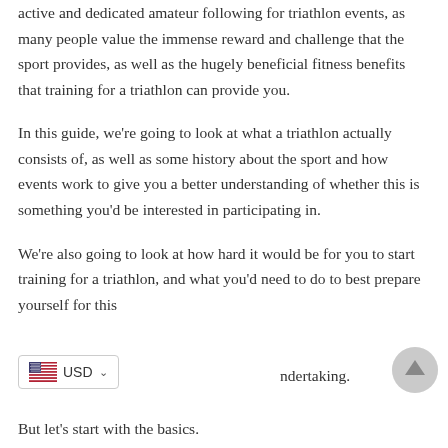active and dedicated amateur following for triathlon events, as many people value the immense reward and challenge that the sport provides, as well as the hugely beneficial fitness benefits that training for a triathlon can provide you.
In this guide, we're going to look at what a triathlon actually consists of, as well as some history about the sport and how events work to give you a better understanding of whether this is something you'd be interested in participating in.
We're also going to look at how hard it would be for you to start training for a triathlon, and what you'd need to do to best prepare yourself for this undertaking.
But let's start with the basics.